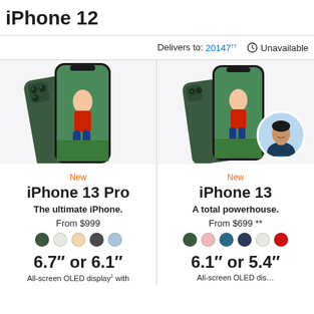iPhone 12
Delivers to: 20147†† Unavailable
[Figure (photo): Apple iPhone 13 Pro in alpine green, showing front and back views of the phone with a person photo on screen]
New
iPhone 13 Pro
The ultimate iPhone.
From $999
[Figure (other): Color swatches: dark green, white/silver, gold/peach, graphite, blue]
6.7″ or 6.1″
All-screen OLED display¹ with
[Figure (photo): Apple iPhone 13 in alpine green, showing front and back views with a person photo on screen]
New
iPhone 13
A total powerhouse.
From $699 **
[Figure (other): Color swatches: dark green, pink, teal/blue, navy, white/silver, red]
6.1″ or 5.4″
All-screen OLED dis…
[Figure (photo): Apple advisor portrait photo in circular bubble]